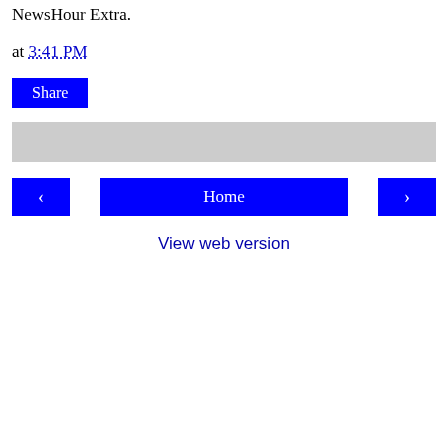NewsHour Extra.
at 3:41 PM
Share
[Figure (other): Gray banner/advertisement placeholder bar]
< Home >
View web version